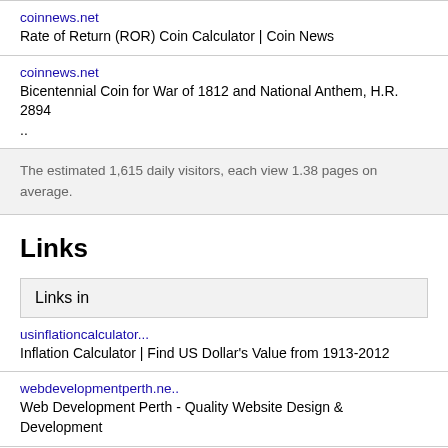coinnews.net
Rate of Return (ROR) Coin Calculator | Coin News
coinnews.net
Bicentennial Coin for War of 1812 and National Anthem, H.R. 2894 ..
The estimated 1,615 daily visitors, each view 1.38 pages on average.
Links
Links in
usinflationcalculator...
Inflation Calculator | Find US Dollar's Value from 1913-2012
webdevelopmentperth.ne..
Web Development Perth - Quality Website Design & Development
baldwi...